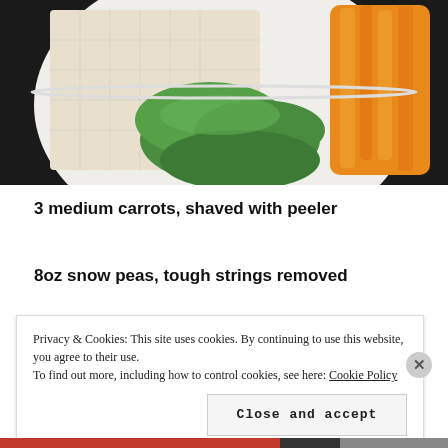[Figure (photo): A white plate holding cubed tofu, snow peas, and shaved carrots arranged in sections on a dark background.]
3 medium carrots, shaved with peeler
8oz snow peas, tough strings removed
Privacy & Cookies: This site uses cookies. By continuing to use this website, you agree to their use.
To find out more, including how to control cookies, see here: Cookie Policy
Close and accept